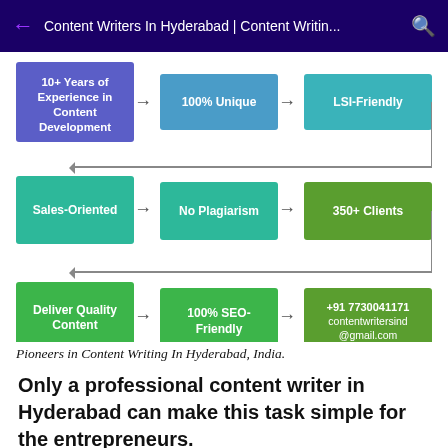Content Writers In Hyderabad | Content Writin...
[Figure (flowchart): A 3x3 flowchart showing content writing service features. Row 1 (blue/teal boxes): '10+ Years of Experience in Content Development' → '100% Unique' → 'LSI-Friendly'. Row 2 (teal/green boxes): 'Sales-Oriented' → 'No Plagiarism' → '350+ Clients'. Row 3 (green boxes): 'Deliver Quality Content' → '100% SEO-Friendly' → '+91 7730041171 contentwritersind@gmail.com'. Rows connected by downward arrows from right side.]
Pioneers in Content Writing In Hyderabad, India.
Only a professional content writer in Hyderabad can make this task simple for the entrepreneurs.